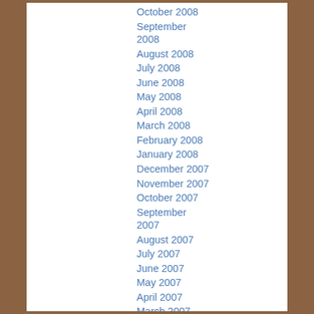October 2008
September 2008
August 2008
July 2008
June 2008
May 2008
April 2008
March 2008
February 2008
January 2008
December 2007
November 2007
October 2007
September 2007
August 2007
July 2007
June 2007
May 2007
April 2007
March 2007
February 2007
January 2007
December 2006
November 2006
October 2006
September 2006
August 2006
July 2006
June 2006
May 2006